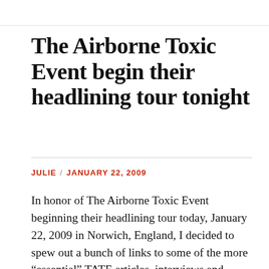The Airborne Toxic Event begin their headlining tour tonight
JULIE / JANUARY 22, 2009
In honor of The Airborne Toxic Event beginning their headlining tour today, January 22, 2009 in Norwich, England, I decided to spew out a bunch of links to some of the more “essential” TATE articles, interviews and reviews. And because I saw a request on their newly opened official forum, a list of Mikel’s writings…